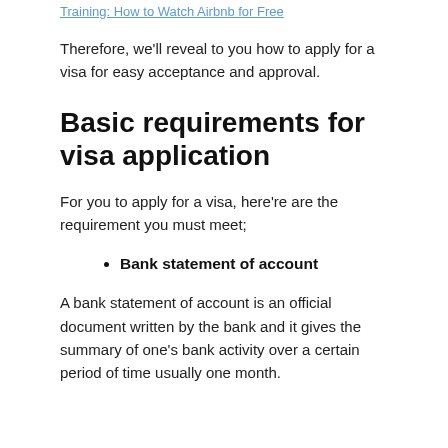Training: How to Watch Airbnb for Free
Therefore, we'll reveal to you how to apply for a visa for easy acceptance and approval.
Basic requirements for visa application
For you to apply for a visa, here're are the requirement you must meet;
Bank statement of account
A bank statement of account is an official document written by the bank and it gives the summary of one's bank activity over a certain period of time usually one month.